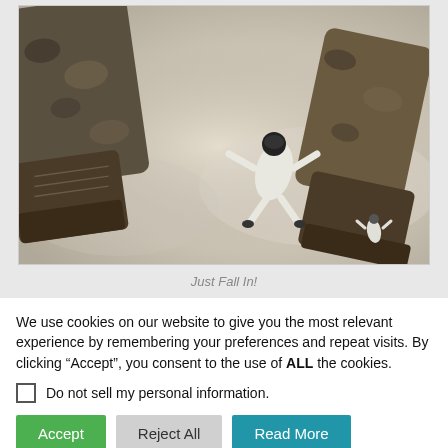[Figure (photo): A skydiving scene viewed from above, showing a large close-up of a person's camouflage-clad legs and boots in the foreground, with another skydiver in a white suit seen below in freefall against a hazy ground/cloud background.]
Just Fall In!
We use cookies on our website to give you the most relevant experience by remembering your preferences and repeat visits. By clicking “Accept”, you consent to the use of ALL the cookies.
Do not sell my personal information.
Accept   Reject All   Read More